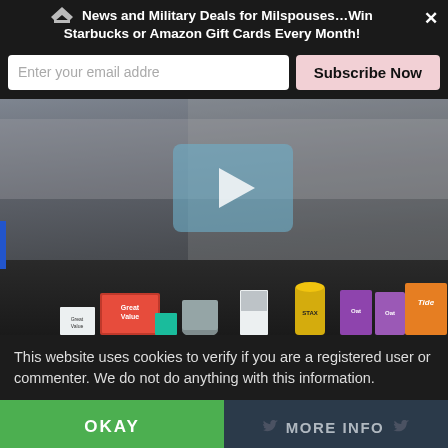News and Military Deals for Milspouses…Win Starbucks or Amazon Gift Cards Every Month!
Enter your email addre
Subscribe Now
[Figure (screenshot): Video thumbnail showing a woman seated behind a table covered with grocery and household products including Great Value, Oat, Stax, Tide, and Sriracha brands. A semi-transparent play button overlay is visible in the center-right area.]
This website uses cookies to verify if you are a registered user or commenter. We do not do anything with this information.
OKAY
MORE INFO